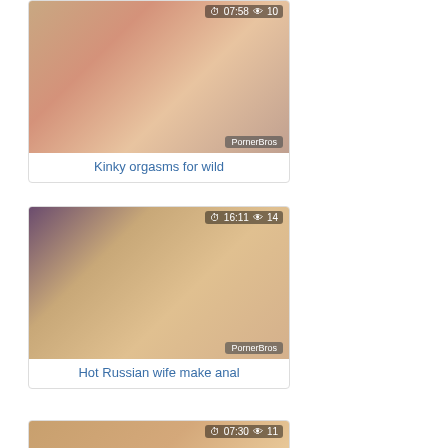[Figure (photo): Video thumbnail showing adult content with duration 07:58 and 10 views, watermarked PornerBros]
Kinky orgasms for wild
[Figure (photo): Video thumbnail showing adult content with duration 16:11 and 14 views, watermarked PornerBros]
Hot Russian wife make anal
[Figure (photo): Video thumbnail showing adult content with duration 07:30 and 11 views]